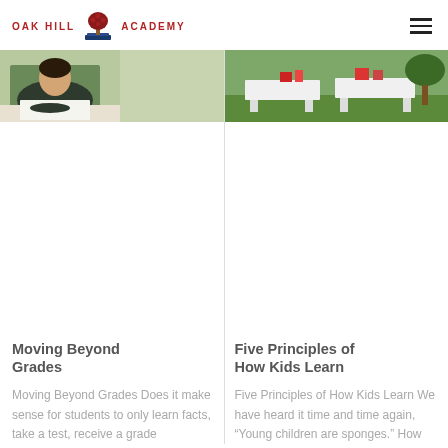[Figure (logo): Oak Hill Academy logo with red tree emblem and red text reading OAK HILL ACADEMY]
[Figure (photo): Student in dark uniform writing at a desk]
[Figure (photo): Outdoor scene with white tables on grass]
Moving Beyond Grades
Moving Beyond Grades Does it make sense for students to only learn facts, take a test, receive a grade
Five Principles of How Kids Learn
Five Principles of How Kids Learn We have heard it time and time again, “Young children are sponges.” How